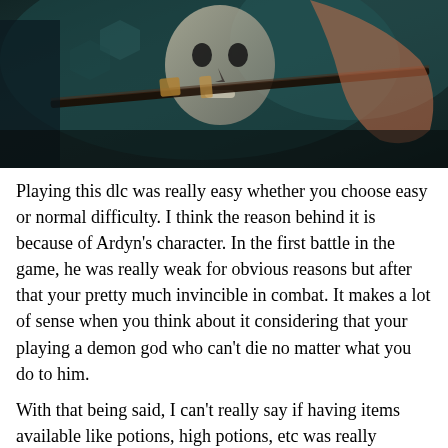[Figure (photo): Screenshot from a video game showing a masked fantasy character or villain in a dark teal/cyan toned scene, possibly from Final Fantasy XV Ardyn DLC]
Playing this dlc was really easy whether you choose easy or normal difficulty. I think the reason behind it is because of Ardyn's character. In the first battle in the game, he was really weak for obvious reasons but after that your pretty much invincible in combat. It makes a lot of sense when you think about it considering that your playing a demon god who can't die no matter what you do to him.
With that being said, I can't really say if having items available like potions, high potions, etc was really necessary only because it was really, really hard to die in the game. Also, Ardyn tends to drain his enemies of health while fighting if he happens to spot a weak point (like a vampire). If you used potions for anything it was just to